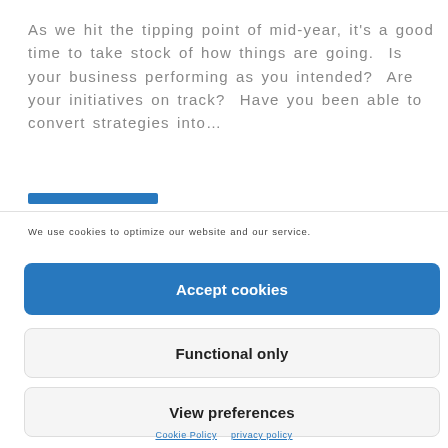As we hit the tipping point of mid-year, it's a good time to take stock of how things are going.  Is your business performing as you intended?  Are your initiatives on track?  Have you been able to convert strategies into…
We use cookies to optimize our website and our service.
Accept cookies
Functional only
View preferences
Cookie Policy   privacy policy